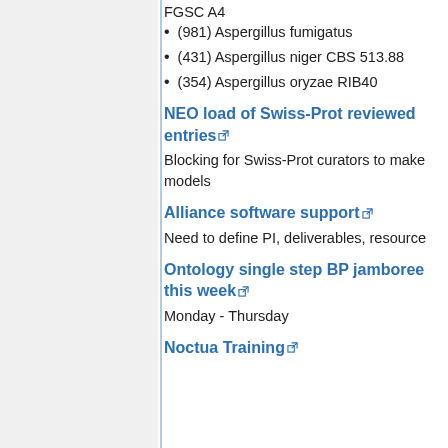FGSC A4
(981) Aspergillus fumigatus
(431) Aspergillus niger CBS 513.88
(354) Aspergillus oryzae RIB40
NEO load of Swiss-Prot reviewed entries
Blocking for Swiss-Prot curators to make models
Alliance software support
Need to define PI, deliverables, resource
Ontology single step BP jamboree this week
Monday - Thursday
Noctua Training